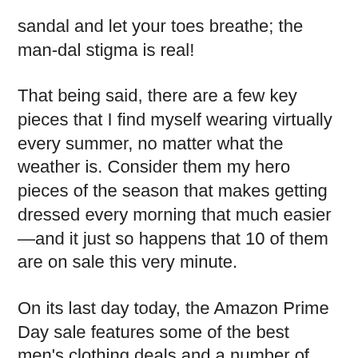sandal and let your toes breathe; the man-dal stigma is real!
That being said, there are a few key pieces that I find myself wearing virtually every summer, no matter what the weather is. Consider them my hero pieces of the season that makes getting dressed every morning that much easier—and it just so happens that 10 of them are on sale this very minute.
On its last day today, the Amazon Prime Day sale features some of the best men's clothing deals and a number of menswear classics that every guy should own. An SSLR Hawaiian shirt, for instance, can be dressed down for a day at the beach or dressed up for dinner later on; Levi's black denim shorts are also the perfect shorts for looking dressy